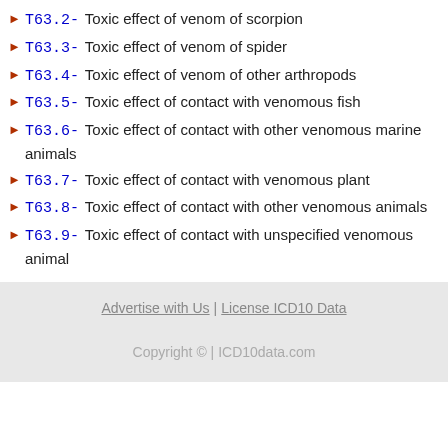T63.2- Toxic effect of venom of scorpion
T63.3- Toxic effect of venom of spider
T63.4- Toxic effect of venom of other arthropods
T63.5- Toxic effect of contact with venomous fish
T63.6- Toxic effect of contact with other venomous marine animals
T63.7- Toxic effect of contact with venomous plant
T63.8- Toxic effect of contact with other venomous animals
T63.9- Toxic effect of contact with unspecified venomous animal
Advertise with Us | License ICD10 Data
Copyright © | ICD10data.com